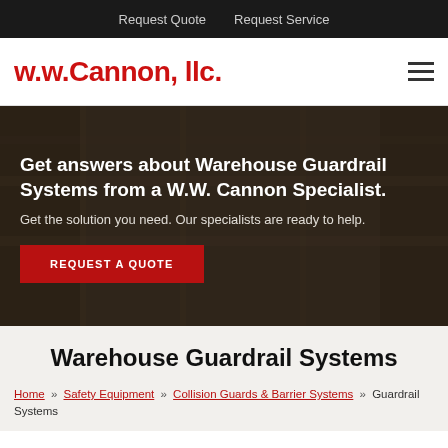Request Quote   Request Service
[Figure (logo): w.w.Cannon, llc. logo in bold red text with hamburger menu icon on the right]
Get answers about Warehouse Guardrail Systems from a W.W. Cannon Specialist.
Get the solution you need. Our specialists are ready to help.
REQUEST A QUOTE
Warehouse Guardrail Systems
Home » Safety Equipment » Collision Guards & Barrier Systems » Guardrail Systems